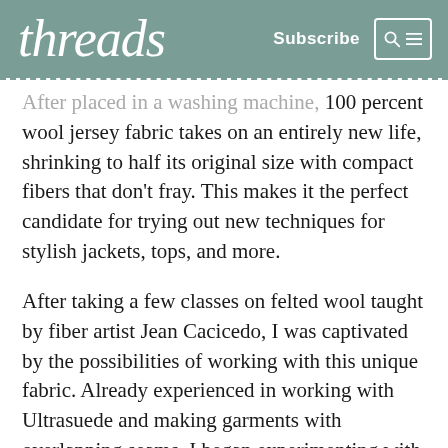threads  Subscribe
After placed in a washing machine, 100 percent wool jersey fabric takes on an entirely new life, shrinking to half its original size with compact fibers that don't fray. This makes it the perfect candidate for trying out new techniques for stylish jackets, tops, and more.
After taking a few classes on felted wool taught by fiber artist Jean Cacicedo, I was captivated by the possibilities of working with this unique fabric. Already experienced in working with Ultrasuede and making garments with overlapping seams, I began experimenting with felted wool. Ultrasuede and felted wool are very different, but the construction